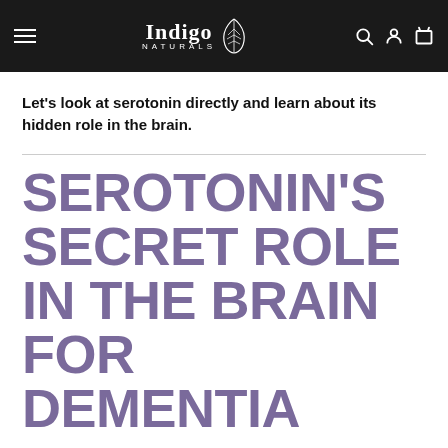Indigo Naturals
Let's look at serotonin directly and learn about its hidden role in the brain.
SEROTONIN'S SECRET ROLE IN THE BRAIN FOR DEMENTIA